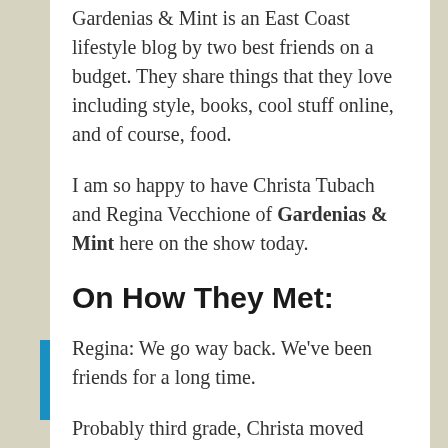Gardenias & Mint is an East Coast lifestyle blog by two best friends on a budget. They share things that they love including style, books, cool stuff online, and of course, food.
I am so happy to have Christa Tubach and Regina Vecchione of Gardenias & Mint here on the show today.
On How They Met:
Regina: We go way back. We've been friends for a long time.
Probably third grade, Christa moved here.